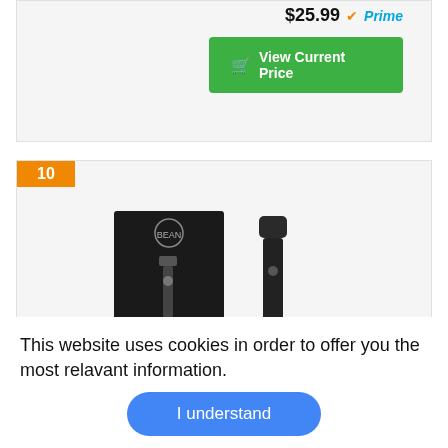$25.99 Prime
🛒 View Current Price
10
[Figure (photo): Product photo of a black handheld milk frother with its packaging box labeled 'PREMIUM MILK FROTHER', shown alongside the device on a metal stand]
This website uses cookies in order to offer you the most relavant information.
I understand